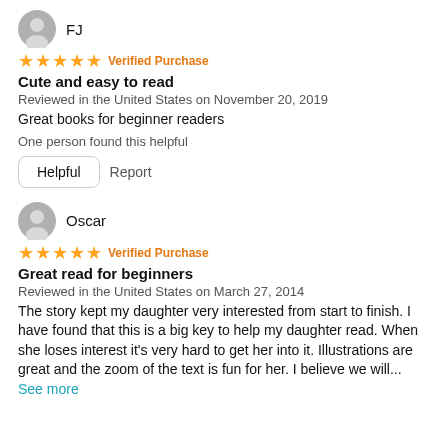FJ
★★★★★ Verified Purchase
Cute and easy to read
Reviewed in the United States on November 20, 2019
Great books for beginner readers
One person found this helpful
Helpful   Report
Oscar
★★★★★ Verified Purchase
Great read for beginners
Reviewed in the United States on March 27, 2014
The story kept my daughter very interested from start to finish. I have found that this is a big key to help my daughter read. When she loses interest it's very hard to get her into it. Illustrations are great and the zoom of the text is fun for her. I believe we will... See more